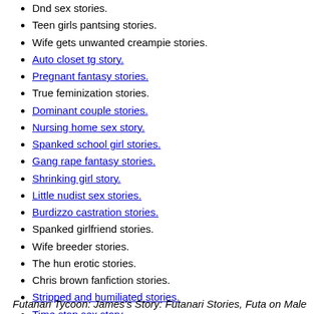Dnd sex stories.
Teen girls pantsing stories.
Wife gets unwanted creampie stories.
Auto closet tg story.
Pregnant fantasy stories.
True feminization stories.
Dominant couple stories.
Nursing home sex story.
Spanked school girl stories.
Gang rape fantasy stories.
Shrinking girl story.
Little nudist sex stories.
Burdizzo castration stories.
Spanked girlfriend stories.
Wife breeder stories.
The hun erotic stories.
Chris brown fanfiction stories.
Stripped and humiliated stories.
Time stop sex story.
Mom catfight stories.
Clit massage stories.
Embarrassing teenage girl stories.
Futanari Tycoon: James's Story: Futanari Stories, Futa on Male